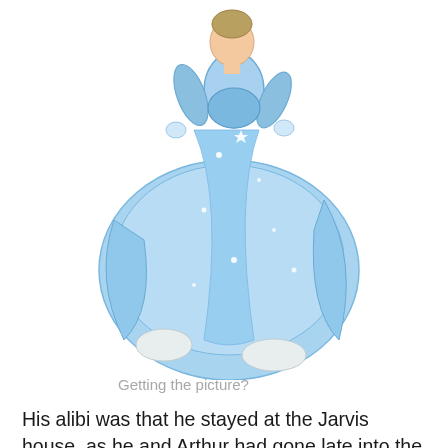[Figure (illustration): Illustration of Cinderella in a blue ball gown, twirling with white gloved hands, sparkles on her dress.]
Getting the picture?
His alibi was that he stayed at the Jarvis house, as he and Arthur had gone late into the night working.
[Figure (photo): A partial photo of a person visible at the bottom edge of the page.]